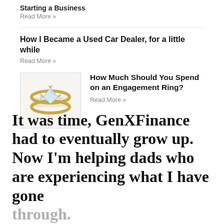Starting a Business
Read More »
How I Became a Used Car Dealer, for a little while
Read More »
[Figure (photo): A gold diamond engagement ring on a light background]
How Much Should You Spend on an Engagement Ring?
Read More »
It was time, GenXFinance had to eventually grow up. Now I'm helping dads who are experiencing what I have gone through.